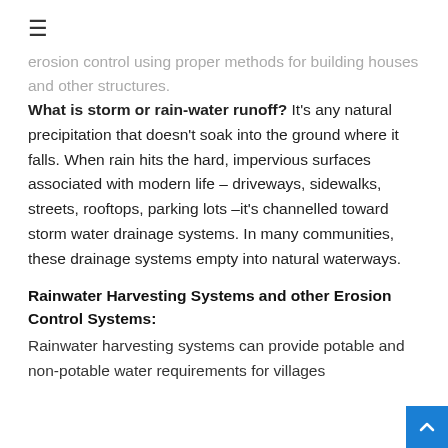≡
erosion control using proper methods for building houses and other structures.
What is storm or rain-water runoff? It's any natural precipitation that doesn't soak into the ground where it falls. When rain hits the hard, impervious surfaces associated with modern life – driveways, sidewalks, streets, rooftops, parking lots –it's channelled toward storm water drainage systems. In many communities, these drainage systems empty into natural waterways.
Rainwater Harvesting Systems and other Erosion Control Systems:
Rainwater harvesting systems can provide potable and non-potable water requirements for villages